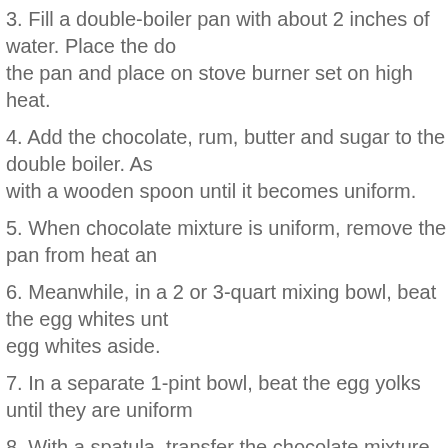3. Fill a double-boiler pan with about 2 inches of water. Place the do the pan and place on stove burner set on high heat.
4. Add the chocolate, rum, butter and sugar to the double boiler. As with a wooden spoon until it becomes uniform.
5. When chocolate mixture is uniform, remove the pan from heat an
6. Meanwhile, in a 2 or 3-quart mixing bowl, beat the egg whites unt egg whites aside.
7. In a separate 1-pint bowl, beat the egg yolks until they are uniform
8. With a spatula, transfer the chocolate mixture to a 3-quart mixing
9. Gently stir the beaten egg yolks into the runny chocolate mixture.
10. Stir the ground almonds into the chocolate-egg yolk mixture.
11. Gently fold the stiff egg whites into the chocolate batter, taking c the egg whites.